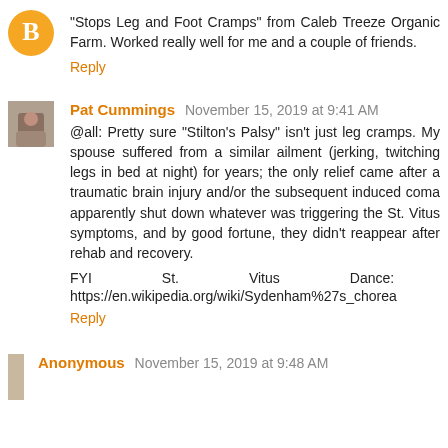"Stops Leg and Foot Cramps" from Caleb Treeze Organic Farm. Worked really well for me and a couple of friends.
Reply
Pat Cummings  November 15, 2019 at 9:41 AM
@all: Pretty sure "Stilton's Palsy" isn't just leg cramps. My spouse suffered from a similar ailment (jerking, twitching legs in bed at night) for years; the only relief came after a traumatic brain injury and/or the subsequent induced coma apparently shut down whatever was triggering the St. Vitus symptoms, and by good fortune, they didn't reappear after rehab and recovery.
FYI St. Vitus Dance: https://en.wikipedia.org/wiki/Sydenham%27s_chorea
Reply
Anonymous  November 15, 2019 at 9:48 AM